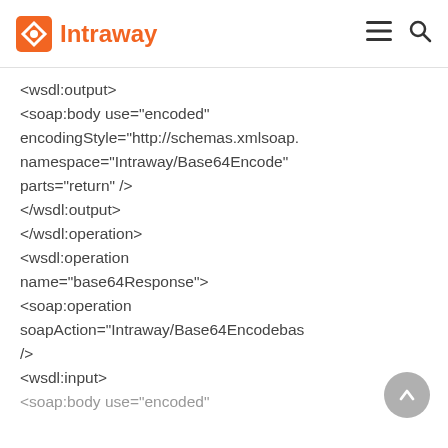Intraway
<wsdl:output>
<soap:body use="encoded" encodingStyle="http://schemas.xmlsoap.
namespace="Intraway/Base64Encode"
parts="return" />
</wsdl:output>
</wsdl:operation>
<wsdl:operation
name="base64Response">
<soap:operation
soapAction="Intraway/Base64Encodebas
/>
<wsdl:input>
<soap:body use="encoded"